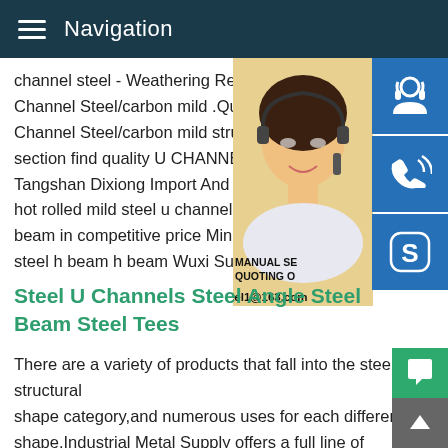Navigation
channel steel - Weathering Resistant JIS S Channel Steel/carbon mild .Quality JIS Standard Channel Steel/carbon mild structural steel section find quality U CHANNEL,Steel Cha Tangshan Dixiong Import And Export Trad hot rolled mild steel u channel jis SS400 h beam in competitive price Min.Order50 .iro steel h beam h beam Wuxi Sunny Xinrui S welded steel iron H beam with cheap price sale profile rolling c steel c channel h bea
[Figure (photo): Woman with headset customer service photo with blue icon buttons for chat, phone, Skype, and email contact overlay. MANUAL SERVICE QUOTING O text and Email: bsteel1@163.com]
Steel U Channels Steel Angle Steel Beam Steel Tees
There are a variety of products that fall into the steel structural shape category,and numerous uses for each different shape.Industrial Metal Supply offers a full line of durable,long-